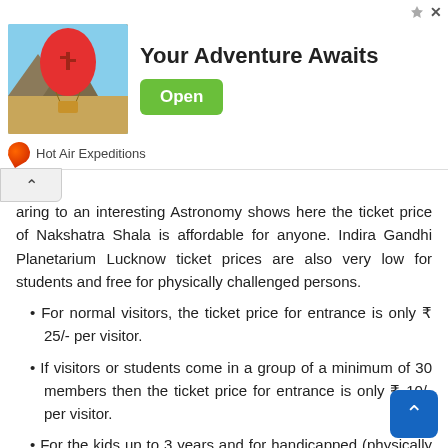[Figure (screenshot): Advertisement banner for Hot Air Expeditions with a hot air balloon image, headline 'Your Adventure Awaits', green Open button, and brand name 'Hot Air Expeditions']
aring to an interesting Astronomy shows here the ticket price of Nakshatra Shala is affordable for anyone. Indira Gandhi Planetarium Lucknow ticket prices are also very low for students and free for physically challenged persons.
• For normal visitors, the ticket price for entrance is only ₹ 25/- per visitor.
• If visitors or students come in a group of a minimum of 30 members then the ticket price for entrance is only ₹ 10/- per visitor.
• For the kids up to 3 years and for handicapped (physically challenged persons) there is no entry ticket. They can enjoy the Nakshatrashala show free of cost
Note: Physically challenged persons have to show